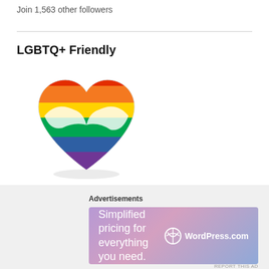Join 1,563 other followers
LGBTQ+ Friendly
[Figure (illustration): Rainbow pride heart illustration with white hands embracing, showing stripes of red, orange, yellow, green, blue, indigo, and purple.]
This blogsite and business appreciates the diversity of human beings and does not discriminate based on race,
Advertisements
[Figure (screenshot): WordPress.com advertisement banner with gradient purple/pink background reading 'Simplified pricing for everything you need.' with WordPress.com logo.]